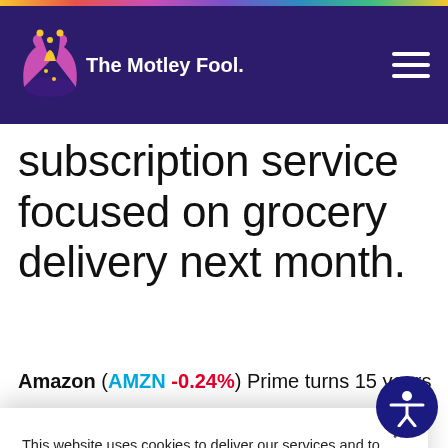The Motley Fool
subscription service focused on grocery delivery next month.
Amazon (AMZN -0.24%) Prime turns 15 years old
This website uses cookies to deliver our services and to analyze traffic. We also share information about your use of our site with advertising and other partners. Privacy Policy
Got it
Cookie Settings